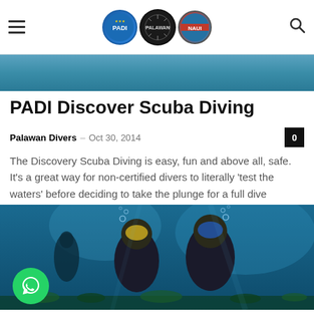Palawan Divers — navigation header with logos and search icon
[Figure (photo): Partially visible underwater photo at top of page below navigation bar]
PADI Discover Scuba Diving
Palawan Divers – Oct 30, 2014
The Discovery Scuba Diving is easy, fun and above all, safe. It's a great way for non-certified divers to literally 'test the waters' before deciding to take the plunge for a full dive certification course.
[Figure (photo): Two scuba divers underwater in black wetsuits, wearing masks and breathing apparatus, with a third diver visible in background. Clear blue water with coral reef below.]
PADI Open Water Course in El Nid...